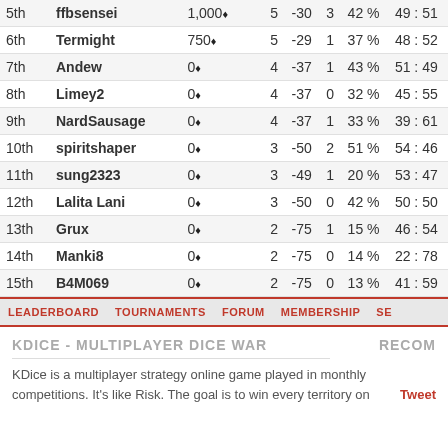| Rank | Name | Points | Col1 | Col2 | Col3 | Col4 | Col5 |
| --- | --- | --- | --- | --- | --- | --- | --- |
| 5th | ffbsensei | 1,000♦ | 5 | -30 | 3 | 42 % | 49 : 51 |
| 6th | Termight | 750♦ | 5 | -29 | 1 | 37 % | 48 : 52 |
| 7th | Andew | 0♦ | 4 | -37 | 1 | 43 % | 51 : 49 |
| 8th | Limey2 | 0♦ | 4 | -37 | 0 | 32 % | 45 : 55 |
| 9th | NardSausage | 0♦ | 4 | -37 | 1 | 33 % | 39 : 61 |
| 10th | spiritshaper | 0♦ | 3 | -50 | 2 | 51 % | 54 : 46 |
| 11th | sung2323 | 0♦ | 3 | -49 | 1 | 20 % | 53 : 47 |
| 12th | Lalita Lani | 0♦ | 3 | -50 | 0 | 42 % | 50 : 50 |
| 13th | Grux | 0♦ | 2 | -75 | 1 | 15 % | 46 : 54 |
| 14th | Manki8 | 0♦ | 2 | -75 | 0 | 14 % | 22 : 78 |
| 15th | B4M069 | 0♦ | 2 | -75 | 0 | 13 % | 41 : 59 |
LEADERBOARD   TOURNAMENTS   FORUM   MEMBERSHIP   SE
KDICE - MULTIPLAYER DICE WAR
KDice is a multiplayer strategy online game played in monthly competitions. It's like Risk. The goal is to win every territory on